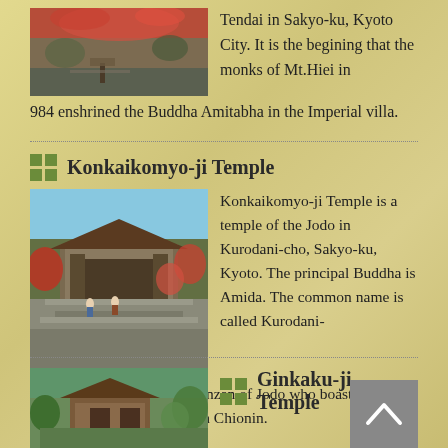[Figure (photo): Photo of a Japanese temple area with red foliage and path]
Tendai in Sakyo-ku, Kyoto City. It is the begining that the monks of Mt.Hiei in 984 enshrined the Buddha Amitabha in the Imperial villa.
Konkaikomyo-ji Temple
[Figure (photo): Photo of Konkaikomyo-ji Temple gate with stone steps and autumn foliage]
Konkaikomyo-ji Temple is a temple of the Jodo in Kurodani-cho, Sakyo-ku, Kyoto. The principal Buddha is Amida. The common name is called Kurodani-san. It is one of seven Daihonzan of Jodo who boasts the formality which is lined with Chionin.
Ginkaku-ji Temple
[Figure (photo): Photo of Ginkaku-ji Temple building surrounded by greenery]